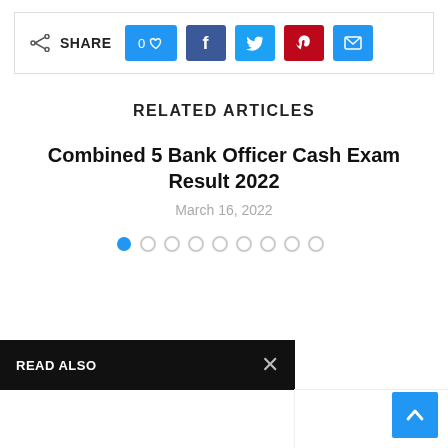[Figure (screenshot): Share bar with social media buttons: like (0), Facebook, Twitter, Pinterest, Email]
RELATED ARTICLES
Combined 5 Bank Officer Cash Exam Result 2022
March 16, 2022
[Figure (other): Carousel pagination dots — first dot active (blue), nine dots total]
READ ALSO
[Figure (other): Back to top arrow button (blue)]